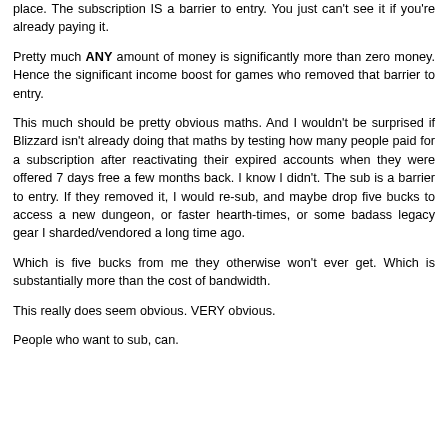place. The subscription IS a barrier to entry. You just can't see it if you're already paying it.
Pretty much ANY amount of money is significantly more than zero money. Hence the significant income boost for games who removed that barrier to entry.
This much should be pretty obvious maths. And I wouldn't be surprised if Blizzard isn't already doing that maths by testing how many people paid for a subscription after reactivating their expired accounts when they were offered 7 days free a few months back. I know I didn't. The sub is a barrier to entry. If they removed it, I would re-sub, and maybe drop five bucks to access a new dungeon, or faster hearth-times, or some badass legacy gear I sharded/vendored a long time ago.
Which is five bucks from me they otherwise won't ever get. Which is substantially more than the cost of bandwidth.
This really does seem obvious. VERY obvious.
People who want to sub, can.